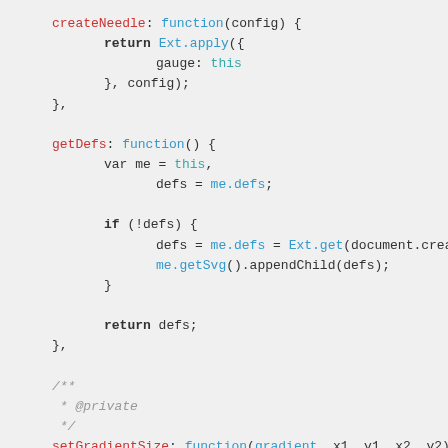createNeedle: function(config) {
        return Ext.apply({
                gauge: this
        }, config);
    },

    getDefs: function() {
        var me = this,
            defs = me.defs;

        if (!defs) {
            defs = me.defs = Ext.get(document.createEle
            me.getSvg().appendChild(defs);
        }

        return defs;
    },

    /**
     * @private
     */
    setGradientSize: function(gradient, x1, y1, x2, y2)
        gradient.setAttribute('x1', x1);
        gradient.setAttribute('y1', y1);